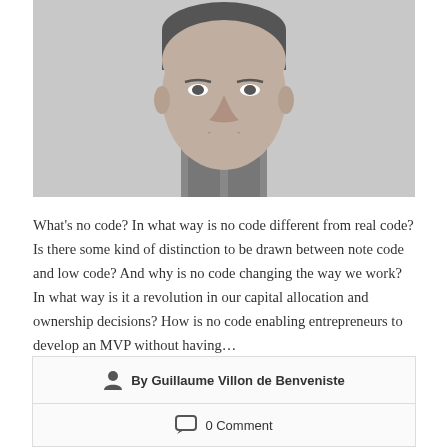[Figure (photo): Black and white portrait photo of a man, showing his face and upper neck/shoulders area, cropped at the top of the head.]
What's no code? In what way is no code different from real code? Is there some kind of distinction to be drawn between note code and low code? And why is no code changing the way we work? In what way is it a revolution in our capital allocation and ownership decisions? How is no code enabling entrepreneurs to develop an MVP without having…
By Guillaume Villon de Benveniste
0 Comment